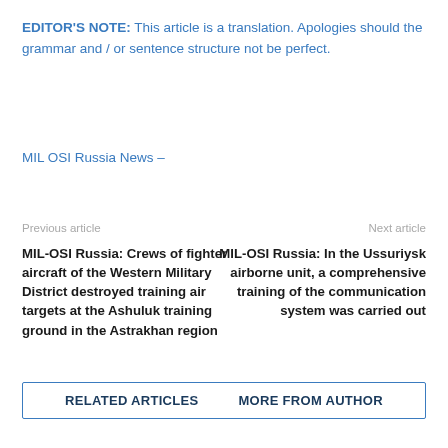EDITOR'S NOTE: This article is a translation. Apologies should the grammar and / or sentence structure not be perfect.
MIL OSI Russia News –
Previous article
Next article
MIL-OSI Russia: Crews of fighter aircraft of the Western Military District destroyed training air targets at the Ashuluk training ground in the Astrakhan region
MIL-OSI Russia: In the Ussuriysk airborne unit, a comprehensive training of the communication system was carried out
RELATED ARTICLES   MORE FROM AUTHOR